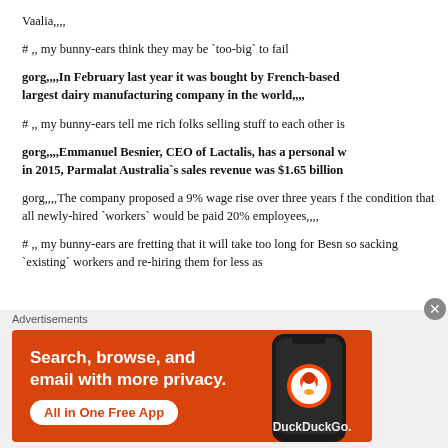Vaalia,,,,
# ,, my bunny-ears think they may be `too-big` to fail
gorg,,,,In February last year it was bought by French-based largest dairy manufacturing company in the world,,,,
# ,, my bunny-ears tell me rich folks selling stuff to each other is
gorg,,,,Emmanuel Besnier, CEO of Lactalis, has a personal w in 2015, Parmalat Australia`s sales revenue was $1.65 billion
gorg,,,,The company proposed a 9% wage rise over three years the condition that all newly-hired `workers` would be paid 20% employees,,,,
# ,, my bunny-ears are fretting that it will take too long for Besn so sacking `existing` workers and re-hiring them for less as y
Advertisements
[Figure (infographic): DuckDuckGo advertisement banner on orange background: 'Search, browse, and email with more privacy. All in One Free App' with phone graphic and DuckDuckGo branding.]